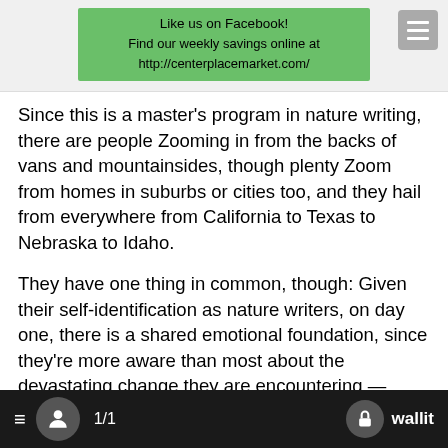[Figure (infographic): Green promotional banner with text: Like us on Facebook! Find our weekly savings online at http://centerplacemarket.com/]
Since this is a master's program in nature writing, there are people Zooming in from the backs of vans and mountainsides, though plenty Zoom from homes in suburbs or cities too, and they hail from everywhere from California to Texas to Nebraska to Idaho.
They have one thing in common, though: Given their self-identification as nature writers, on day one, there is a shared emotional foundation, since they're more aware than most about the devastating change they are encountering — megafires, decimated butterfly numbers, aquifers depleted for bottled water, extreme heat, drought and flooding, to name just a few of the topics they've covered this past semester.
Climate chaos is no stranger to anyone who signs up for such a program, and so they arrive with the grief, anger, moral injury and
≡  👤  1/1  🔒 wallit